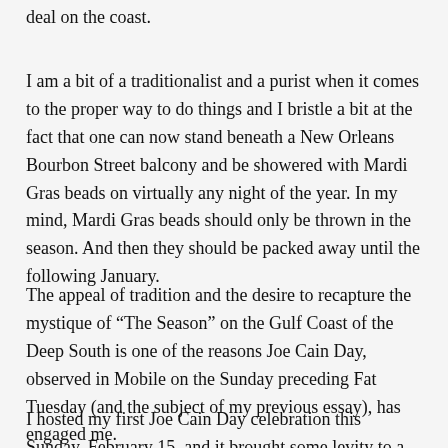deal on the coast.
I am a bit of a traditionalist and a purist when it comes to the proper way to do things and I bristle a bit at the fact that one can now stand beneath a New Orleans Bourbon Street balcony and be showered with Mardi Gras beads on virtually any night of the year. In my mind, Mardi Gras beads should only be thrown in the season. And then they should be packed away until the following January.
The appeal of tradition and the desire to recapture the mystique of “The Season” on the Gulf Coast of the Deep South is one of the reasons Joe Cain Day, observed in Mobile on the Sunday preceding Fat Tuesday (and the subject of my previous essay), has engaged me.
I hosted my first Joe Cain Day celebration this Sunday, February 15, and it brought some levity to a blustery February afternoon in north Alabama as still another cold front — “the